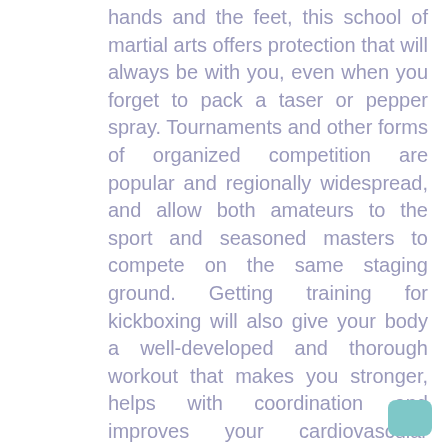hands and the feet, this school of martial arts offers protection that will always be with you, even when you forget to pack a taser or pepper spray. Tournaments and other forms of organized competition are popular and regionally widespread, and allow both amateurs to the sport and seasoned masters to compete on the same staging ground. Getting training for kickboxing will also give your body a well-developed and thorough workout that makes you stronger, helps with coordination and improves your cardiovascular stamina. In fact, many children with minor developmental coordination problems find that, after a few months of kickboxing, they've trained themselves out of those little disabilities entirely.